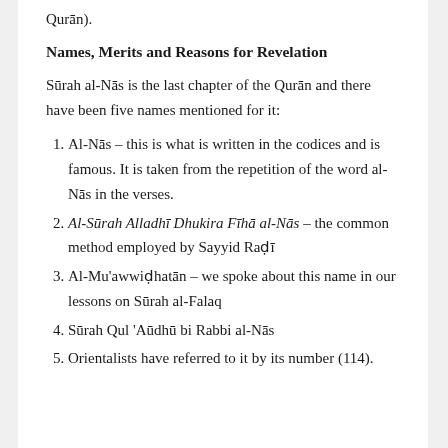Qurān).
Names, Merits and Reasons for Revelation
Sūrah al-Nās is the last chapter of the Qurān and there have been five names mentioned for it:
Al-Nās – this is what is written in the codices and is famous. It is taken from the repetition of the word al-Nās in the verses.
Al-Sūrah Alladhī Dhukira Fīhā al-Nās – the common method employed by Sayyid Raḍī
Al-Mu'awwiḍhatān – we spoke about this name in our lessons on Sūrah al-Falaq
Sūrah Qul 'Aūdhū bi Rabbi al-Nās
Orientalists have referred to it by its number (114).